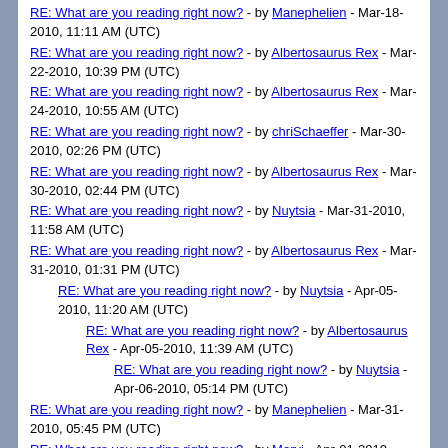RE: What are you reading right now? - by Manephelien - Mar-18-2010, 11:11 AM (UTC)
RE: What are you reading right now? - by Albertosaurus Rex - Mar-22-2010, 10:39 PM (UTC)
RE: What are you reading right now? - by Albertosaurus Rex - Mar-24-2010, 10:55 AM (UTC)
RE: What are you reading right now? - by chriSchaeffer - Mar-30-2010, 02:26 PM (UTC)
RE: What are you reading right now? - by Albertosaurus Rex - Mar-30-2010, 02:44 PM (UTC)
RE: What are you reading right now? - by Nuytsia - Mar-31-2010, 11:58 AM (UTC)
RE: What are you reading right now? - by Albertosaurus Rex - Mar-31-2010, 01:31 PM (UTC)
RE: What are you reading right now? - by Nuytsia - Apr-05-2010, 11:20 AM (UTC)
RE: What are you reading right now? - by Albertosaurus Rex - Apr-05-2010, 11:39 AM (UTC)
RE: What are you reading right now? - by Nuytsia - Apr-06-2010, 05:14 PM (UTC)
RE: What are you reading right now? - by Manephelien - Mar-31-2010, 05:45 PM (UTC)
RE: What are you reading right now? - by Mervi - Apr-01-2010, 02:17 PM (UTC)